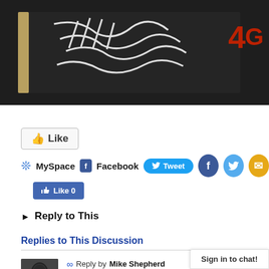[Figure (photo): Chalkboard photo with white chalk writing and red text visible at top right corner]
Like
MySpace  Facebook  Tweet
Like 0
Reply to This
Replies to This Discussion
Reply by Mike Shepherd on September 6, 2020 at 9:04am
It is in fact unusual for an a
Sign in to chat!